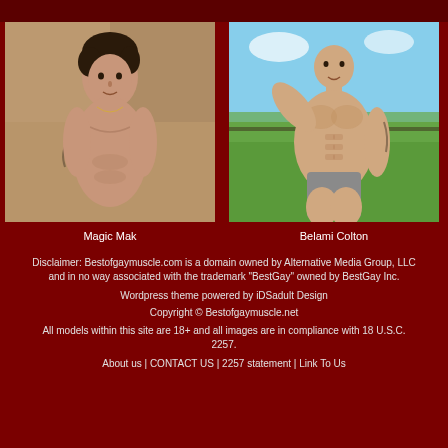[Figure (photo): Shirtless tattooed man with dark curly hair, selfie in bathroom/tiled setting]
Magic Mak
[Figure (photo): Muscular shirtless man flexing bicep outdoors in park with blue sky background]
Belami Colton
Disclaimer: Bestofgaymuscle.com is a domain owned by Alternative Media Group, LLC and in no way associated with the trademark "BestGay" owned by BestGay Inc.
Wordpress theme powered by iDSadult Design
Copyright © Bestofgaymuscle.net
All models within this site are 18+ and all images are in compliance with 18 U.S.C. 2257.
About us | CONTACT US | 2257 statement | Link To Us